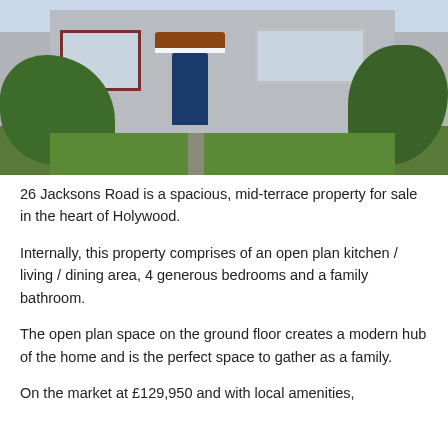[Figure (photo): Exterior photo of 26 Jacksons Road, a mid-terrace property with grey render walls, blue front door with porch canopy, hedges on either side, and a green front garden.]
26 Jacksons Road is a spacious, mid-terrace property for sale in the heart of Holywood.
Internally, this property comprises of an open plan kitchen / living / dining area, 4 generous bedrooms and a family bathroom.
The open plan space on the ground floor creates a modern hub of the home and is the perfect space to gather as a family.
On the market at £129,950 and with local amenities,